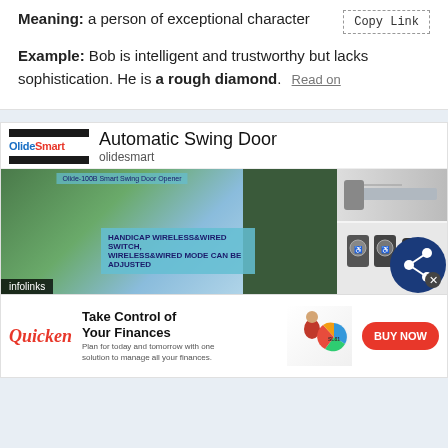Meaning: a person of exceptional character
Example: Bob is intelligent and trustworthy but lacks sophistication. He is a rough diamond. Read on
[Figure (screenshot): Advertisement for OlideSmart Automatic Swing Door with product images showing doors, switches, and controls. Contains infolinks label at bottom left.]
[Figure (screenshot): Advertisement for Quicken financial software with headline 'Take Control of Your Finances', a BUY NOW button, and an image of a woman at a computer with a colorful pie chart.]